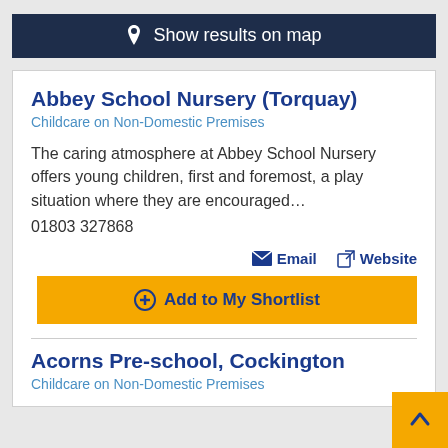📍 Show results on map
Abbey School Nursery (Torquay)
Childcare on Non-Domestic Premises
The caring atmosphere at Abbey School Nursery offers young children, first and foremost, a play situation where they are encouraged…
01803 327868
Email   Website
Add to My Shortlist
Acorns Pre-school, Cockington
Childcare on Non-Domestic Premises